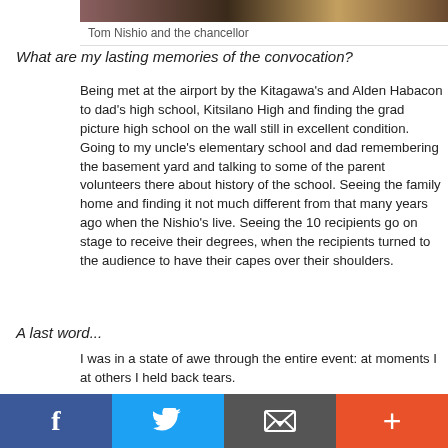[Figure (photo): Photo of Tom Nishio and the chancellor at a convocation ceremony]
Tom Nishio and the chancellor
What are my lasting memories of the convocation?
Being met at the airport by the Kitagawa's and Alden Habacon to dad's high school, Kitsilano High and finding the grad picture high school on the wall still in excellent condition. Going to my uncle's elementary school and dad remembering the basement yard and talking to some of the parent volunteers there about history of the school. Seeing the family home and finding it not much different from that many years ago when the Nishio's live. Seeing the 10 recipients go on stage to receive their degrees, when the recipients turned to the audience to have their capes over their shoulders.
A last word...
I was in a state of awe through the entire event: at moments I at others I held back tears.
The entire event was a wave of emotion. We were reminded th Noguchi (1941-42, 4th year, Faculty of Arts and Science) passe